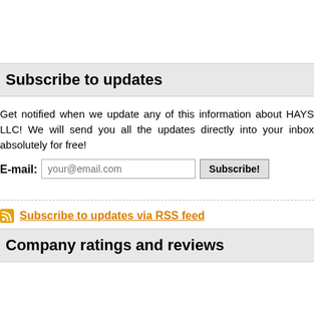Subscribe to updates
Get notified when we update any of this information about HAYS LLC! We will send you all the updates directly into your inbox absolutely for free!
E-mail: [input: your@email.com] [Subscribe!]
Subscribe to updates via RSS feed
Company ratings and reviews